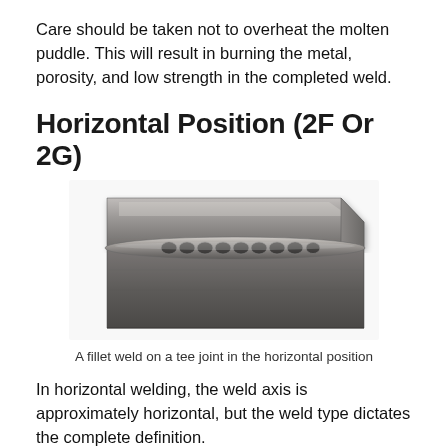Care should be taken not to overheat the molten puddle. This will result in burning the metal, porosity, and low strength in the completed weld.
Horizontal Position (2F Or 2G)
[Figure (photo): Photo of a fillet weld on a tee joint in the horizontal position, showing a metallic L-shaped joint with a weld bead along the seam.]
A fillet weld on a tee joint in the horizontal position
In horizontal welding, the weld axis is approximately horizontal, but the weld type dictates the complete definition.
For a fillet weld – welding is performed on the